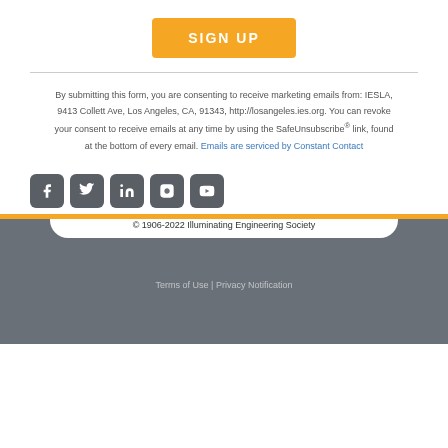[Figure (other): Orange SIGN UP button]
By submitting this form, you are consenting to receive marketing emails from: IESLA, 9413 Collett Ave, Los Angeles, CA, 91343, http://losangeles.ies.org. You can revoke your consent to receive emails at any time by using the SafeUnsubscribe® link, found at the bottom of every email. Emails are serviced by Constant Contact
[Figure (other): Social media icons row: Facebook, Twitter, LinkedIn, Instagram, YouTube]
© 1906-2022 Illuminating Engineering Society
Terms of Use | Privacy Notification